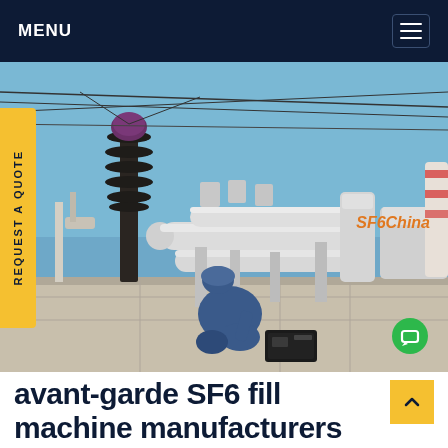MENU
[Figure (photo): Outdoor high-voltage electrical substation with large white cylindrical equipment, insulators, and overhead cables. A worker in blue coveralls and helmet kneels on concrete ground using a portable SF6 gas device. Watermark 'SF6China' in orange at bottom right.]
REQUEST A QUOTE
avant-garde SF6 fill machine manufacturers